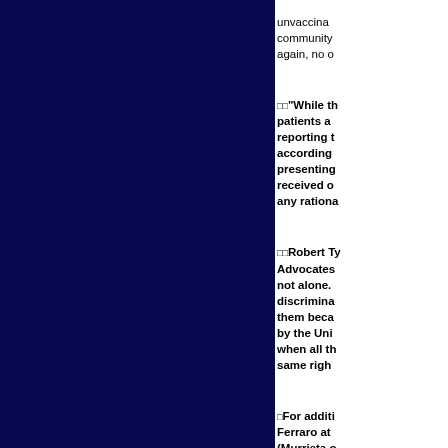unvaccinated community again, no o
□□“While th patients an reporting t according presenting received o any rationa
□□Robert Ty Advocates not alone. discrimina them beca by the Uni when all th same righ
□For additi Ferraro at (Murrieta o